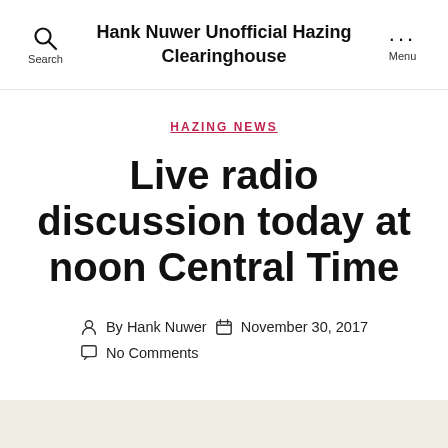Hank Nuwer Unofficial Hazing Clearinghouse
HAZING NEWS
Live radio discussion today at noon Central Time
By Hank Nuwer  November 30, 2017  No Comments